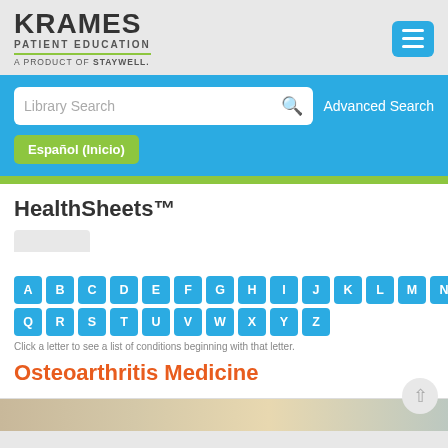[Figure (logo): Krames Patient Education logo - A Product of Staywell]
[Figure (screenshot): Hamburger menu button (three horizontal lines) in cyan/blue color]
Library Search
Advanced Search
Español (Inicio)
HealthSheets™
A B C D E F G H I J K L M N O P Q R S T U V W X Y Z
Click a letter to see a list of conditions beginning with that letter.
Osteoarthritis Medicine